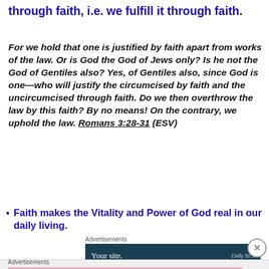through faith, i.e. we fulfill it through faith.
For we hold that one is justified by faith apart from works of the law. Or is God the God of Jews only? Is he not the God of Gentiles also? Yes, of Gentiles also, since God is one—who will justify the circumcised by faith and the uncircumcised through faith. Do we then overthrow the law by this faith? By no means! On the contrary, we uphold the law. Romans 3:28-31 (ESV)
Faith makes the Vitality and Power of God real in our daily living.
[Figure (screenshot): Advertisement banner showing 'Your site.' on dark teal background with partial Daily Bread logo]
[Figure (photo): MAC cosmetics advertisement showing lipsticks and SHOP NOW button]